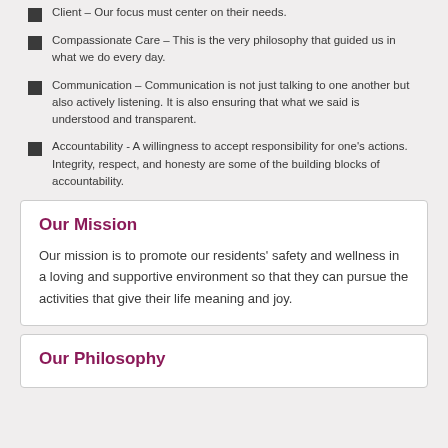Client – Our focus must center on their needs.
Compassionate Care – This is the very philosophy that guided us in what we do every day.
Communication – Communication is not just talking to one another but also actively listening. It is also ensuring that what we said is understood and transparent.
Accountability - A willingness to accept responsibility for one's actions. Integrity, respect, and honesty are some of the building blocks of accountability.
Our Mission
Our mission is to promote our residents' safety and wellness in a loving and supportive environment so that they can pursue the activities that give their life meaning and joy.
Our Philosophy